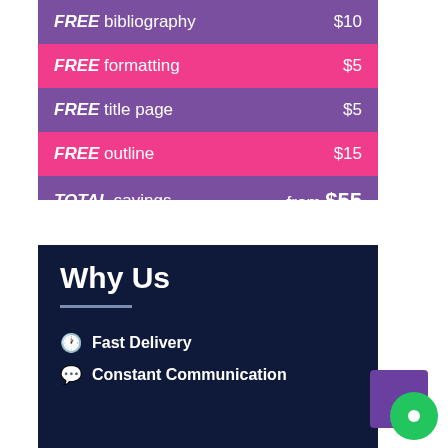| Item | Price |
| --- | --- |
| FREE bibliography | $10 |
| FREE formatting | $5 |
| FREE title page | $5 |
| FREE outline | $15 |
| TOTAL savings | from $55 |
Why Us
Fast Delivery
Constant Communication